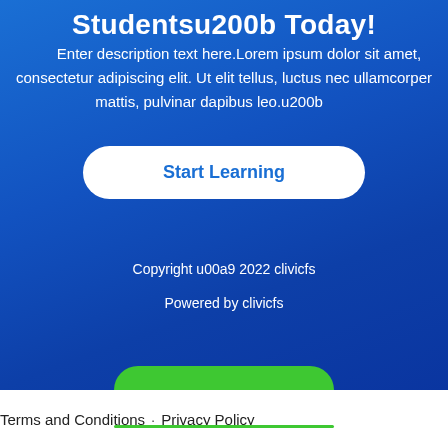Studentsu200b Today!
Enter description text here.Lorem ipsum dolor sit amet, consectetur adipiscing elit. Ut elit tellus, luctus nec ullamcorper mattis, pulvinar dapibus leo.u200b
Start Learning
Copyright u00a9 2022 clivicfs
Powered by clivicfs
Terms and Conditions · Privacy Policy